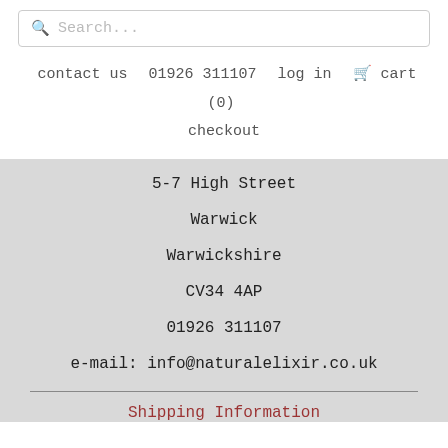Search...
contact us  01926 311107  log in  cart (0)  checkout
5-7 High Street
Warwick
Warwickshire
CV34 4AP
01926 311107
e-mail: info@naturalelixir.co.uk
Shipping Information